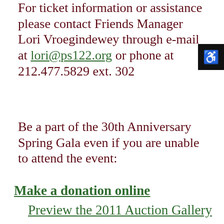For ticket information or assistance please contact Friends Manager Lori Vroegindewey through e-mail at lori@ps122.org or phone at 212.477.5829 ext. 302
Be a part of the 30th Anniversary Spring Gala even if you are unable to attend the event:
Make a donation online
Preview the 2011 Auction Gallery